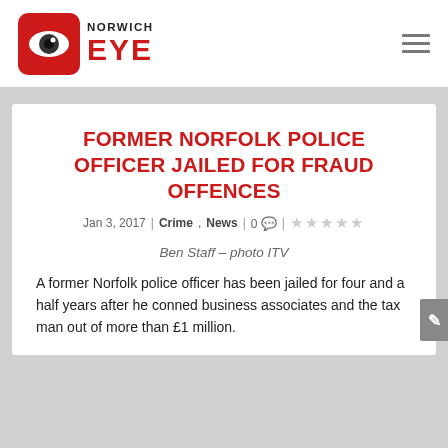Norwich Eye
FORMER NORFOLK POLICE OFFICER JAILED FOR FRAUD OFFENCES
Jan 3, 2017 | Crime, News | 0 | ★☆☆☆☆
Ben Staff – photo ITV
A former Norfolk police officer has been jailed for four and a half years after he conned business associates and the tax man out of more than £1 million.